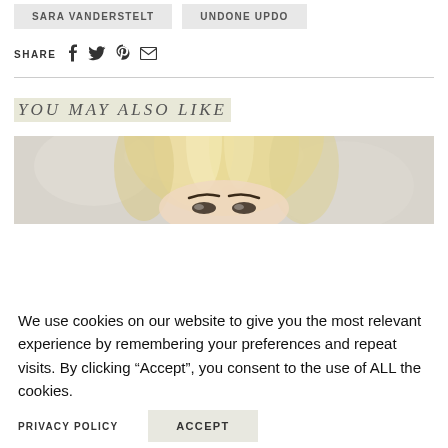SARA VANDERSTELT
UNDONE UPDO
SHARE
YOU MAY ALSO LIKE
[Figure (photo): Cropped photo of a blonde woman, showing forehead and eyes against a light textured background]
We use cookies on our website to give you the most relevant experience by remembering your preferences and repeat visits. By clicking “Accept”, you consent to the use of ALL the cookies.
PRIVACY POLICY
ACCEPT